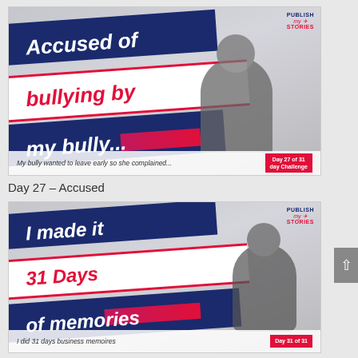[Figure (photo): Promotional image thumbnail: 'Accused of bullying by my bully...' with diagonal navy and white banner strips, woman behind a dark board, 'Day 27 of 31 day Challenge' badge, 'Publish My Stories' logo, subtitle 'My bully wanted to leave early so she complained...']
Day 27 – Accused
[Figure (photo): Promotional image thumbnail: 'I made it 31 Days of memories' with diagonal navy and white banner strips, woman standing with arms open, 'Day 31 of 31' badge, 'Publish My Stories' logo, subtitle 'I did 31 days business memoires']